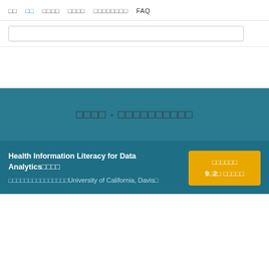□□  □□  □□□□  □□□□  □□□□□□□□  FAQ
[Figure (screenshot): Search input box]
□□□□ - □□□□□□□□□□
Health Information Literacy for Data Analytics□□□□
□□□□□□□□□□□□□□□University of California, Davis□
□□□□□□
9□2□ □□□□□